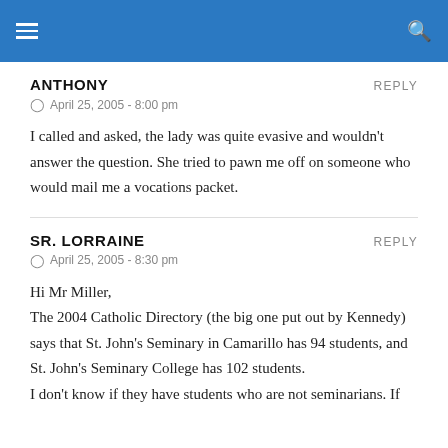ANTHONY   REPLY   April 25, 2005 - 8:00 pm
I called and asked, the lady was quite evasive and wouldn't answer the question. She tried to pawn me off on someone who would mail me a vocations packet.
SR. LORRAINE   REPLY   April 25, 2005 - 8:30 pm
Hi Mr Miller,
The 2004 Catholic Directory (the big one put out by Kennedy) says that St. John's Seminary in Camarillo has 94 students, and St. John's Seminary College has 102 students.
I don't know if they have students who are not seminarians. If